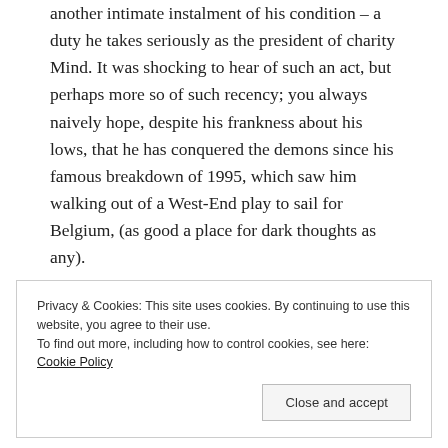another intimate instalment of his condition – a duty he takes seriously as the president of charity Mind. It was shocking to hear of such an act, but perhaps more so of such recency; you always naively hope, despite his frankness about his lows, that he has conquered the demons since his famous breakdown of 1995, which saw him walking out of a West-End play to sail for Belgium, (as good a place for dark thoughts as any).
Privacy & Cookies: This site uses cookies. By continuing to use this website, you agree to their use. To find out more, including how to control cookies, see here: Cookie Policy